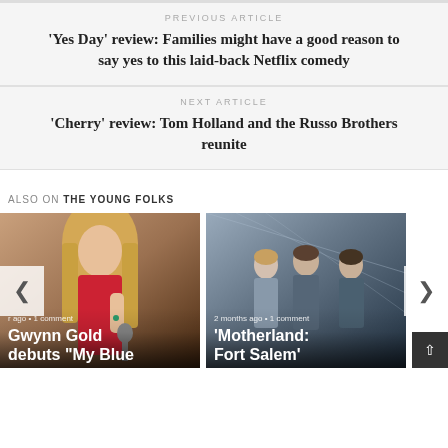PREVIOUS ARTICLE
'Yes Day' review: Families might have a good reason to say yes to this laid-back Netflix comedy
NEXT ARTICLE
'Cherry' review: Tom Holland and the Russo Brothers reunite
ALSO ON THE YOUNG FOLKS
[Figure (photo): Card showing Gwynn Gold with microphone, text: 'r ago • 1 comment' and 'Gwynn Gold debuts "My Blue']
[Figure (photo): Card showing group from Motherland: Fort Salem, text: '2 months ago • 1 comment' and ''Motherland: Fort Salem']